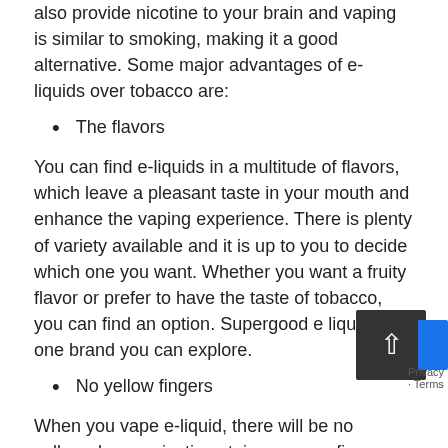also provide nicotine to your brain and vaping is similar to smoking, making it a good alternative. Some major advantages of e-liquids over tobacco are:
The flavors
You can find e-liquids in a multitude of flavors, which leave a pleasant taste in your mouth and enhance the vaping experience. There is plenty of variety available and it is up to you to decide which one you want. Whether you want a fruity flavor or prefer to have the taste of tobacco, you can find an option. Supergood e liquid is one brand you can explore.
No yellow fingers
When you vape e-liquid, there will be no yellowy brown nicotine stains on your fingers that are usually found in tobacco smoking. This typically happens to heavy smokers and can stain the teeth, nose and mouth.
No bad odor
One of the biggest advantages of e-liquids is that they